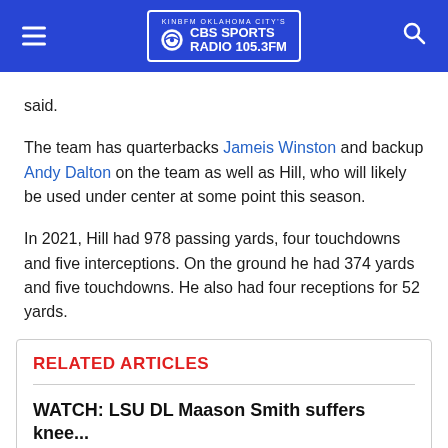KINBFM OKLAHOMA CITY'S CBS SPORTS RADIO 105.3FM
said.
The team has quarterbacks Jameis Winston and backup Andy Dalton on the team as well as Hill, who will likely be used under center at some point this season.
In 2021, Hill had 978 passing yards, four touchdowns and five interceptions. On the ground he had 374 yards and five touchdowns. He also had four receptions for 52 yards.
RELATED ARTICLES
WATCH: LSU DL Maason Smith suffers knee...